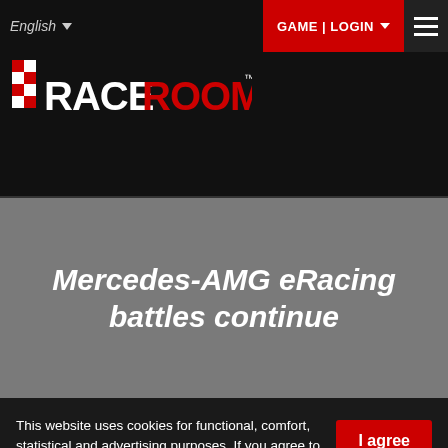English  ▼   GAME LOGIN
[Figure (logo): RaceRoom logo — white 'RACE' text and red 'ROOM' text with a red/black chequered flag emblem on the left]
Mercedes-AMG eRacing battles continue
This website uses cookies for functional, comfort, statistical and advertising purposes. If you agree to the use of cookies, please click 'I agree'. If you continue to